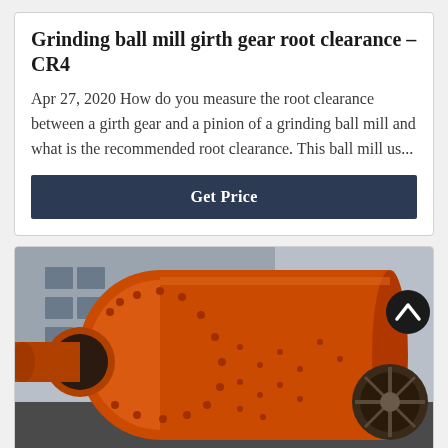Grinding ball mill girth gear root clearance – CR4
Apr 27, 2020 How do you measure the root clearance between a girth gear and a pinion of a grinding ball mill and what is the recommended root clearance. This ball mill us...
[Figure (other): Dark navy blue 'Get Price' button]
[Figure (photo): Photograph of a large orange grinding ball mill with girth gear visible, yellow crane structure in background, industrial setting outdoors.]